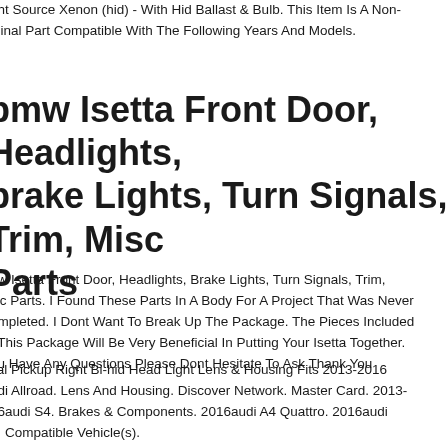ght Source Xenon (hid) - With Hid Ballast & Bulb. This Item Is A Non-iginal Part Compatible With The Following Years And Models.
bmw Isetta Front Door, Headlights, brake Lights, Turn Signals, Trim, Misc Parts
nw Isetta Front Door, Headlights, Brake Lights, Turn Signals, Trim, isc Parts. I Found These Parts In A Body For A Project That Was Never ompleted. I Dont Want To Break Up The Package. The Pieces Included. This Package Will Be Very Beneficial In Putting Your Isetta Together. ou Have Any Questions Please Dont Hesitate To Ask Thank You
cal Pickup Right Bi-hid Head Light Lens & Housing Fits 2013-2016 udi Allroad. Lens And Housing. Discover Network. Master Card. 2013-16audi S4. Brakes & Components. 2016audi A4 Quattro. 2016audi 4. Compatible Vehicle(s).